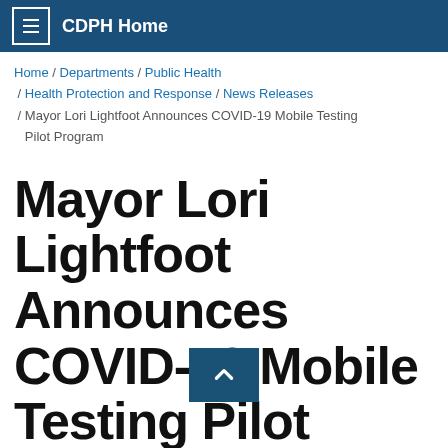CDPH Home
Home / Departments / Public Health / Health Protection and Response / News Releases / Mayor Lori Lightfoot Announces COVID-19 Mobile Testing Pilot Program
Mayor Lori Lightfoot Announces COVID-19 Mobile Testing Pilot Program
June 23, 202
City launches pilot to expand COVID-19 testing